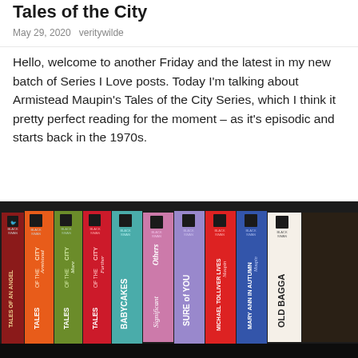Tales of the City
May 29, 2020   veritywilde
Hello, welcome to another Friday and the latest in my new batch of Series I Love posts. Today I'm talking about Armistead Maupin's Tales of the City Series, which I think it pretty perfect reading for the moment – as it's episodic and starts back in the 1970s.
[Figure (photo): Row of Tales of the City book spines by Armistead Maupin, published by Black Swan, arranged on a shelf. Books visible include: Tales of an Angel, Tales of the City, More Tales of the City, Further Tales of the City, Babycakes, Significant Others, Sure of You, Michael Tolliver Lives, Mary Ann in Autumn, Old Baggage.]